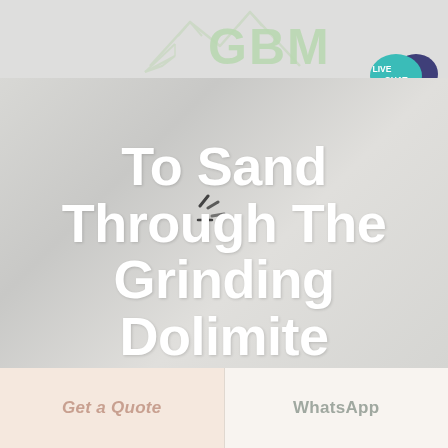[Figure (logo): GBM logo with mountain/peaks icon outline and bold GBM text in light green color]
[Figure (other): Live Chat bubble icon — teal speech bubble with 'LIVE CHAT' text and dark blue chat icon]
[Figure (other): Hamburger menu icon (three horizontal lines) on nav bar, right side]
[Figure (photo): Hero background image showing dolomite grinding or sand-related industrial scene, light gray/beige tones]
[Figure (other): Loading spinner / progress indicator in the center of the hero image]
To Sand Through The Grinding Dolimite
[Figure (other): Get a Quote button (left, salmon/peach background)]
[Figure (other): WhatsApp button (right, light background)]